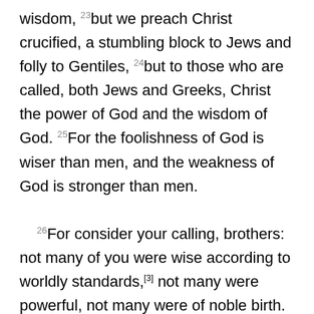wisdom, 23but we preach Christ crucified, a stumbling block to Jews and folly to Gentiles, 24but to those who are called, both Jews and Greeks, Christ the power of God and the wisdom of God. 25For the foolishness of God is wiser than men, and the weakness of God is stronger than men.

26For consider your calling, brothers: not many of you were wise according to worldly standards,[3] not many were powerful, not many were of noble birth. 27But God chose what is foolish in the world to shame the wise; God chose what is weak in the world to shame the strong; 28God chose what is low and despised in the world, even things that are not, to bring to nothing things that are, 29so that no